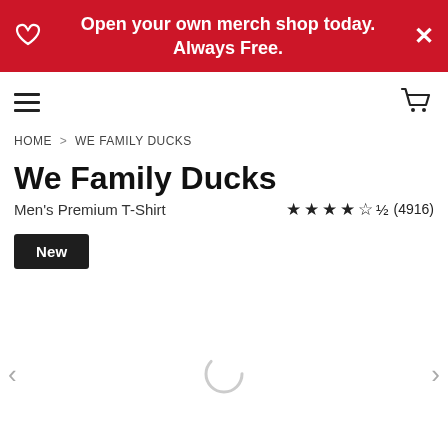Open your own merch shop today. Always Free.
[Figure (screenshot): Navigation bar with hamburger menu icon on left and shopping cart icon on right]
HOME > WE FAMILY DUCKS
We Family Ducks
Men's Premium T-Shirt
★★★★½ (4916)
New
[Figure (illustration): Product image area showing a loading spinner with left and right navigation arrows]